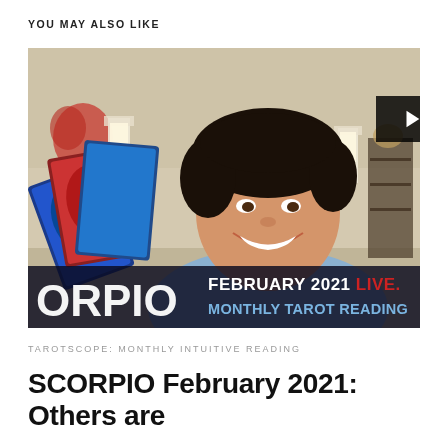YOU MAY ALSO LIKE
[Figure (photo): Video thumbnail showing a man with curly dark hair holding colorful tarot cards, smiling at camera. Room background with flowers and lamps. Bottom overlay text reads 'ORPIO' on left, and 'FEBRUARY 2021 LIVE. MONTHLY TAROT READING' on right in white and red bold text.]
TAROTSCOPE: MONTHLY INTUITIVE READING
SCORPIO February 2021: Others are